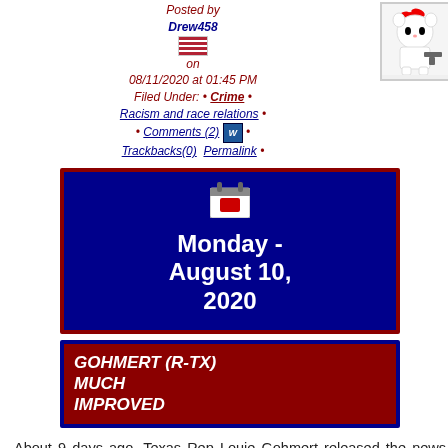Posted by Drew458 on 08/11/2020 at 01:45 PM Filed Under: • Crime • Racism and race relations • Comments (2) • Trackbacks(0) Permalink •
[Figure (illustration): Hello Kitty image with gun, displayed in a bordered box]
[Figure (illustration): Calendar widget showing Monday - August 10, 2020 with red border and dark blue background]
Monday - August 10, 2020
GOHMERT (R-TX) MUCH IMPROVED
About 9 days ago, Texas Rep Louie Gohmert released the news that he had a 'rona. And he'd been wearing a mask.
DIVERSITY BS - (119)
Editorials - (318)
Education - (342)
Egypt, Then and Now - (0)
Environment - (209)
EUro-peons - (310)
Eye-Candy - (903)
Fake News - (1)
Finance and Investing - (36)
Family - (38)
Fine-Dining - (168)
Food - (15)
FRANCE - (116)
Fun-Stuff - (838)
FREEDOM - (121)
gardening - (1)
Gardens and plants - (3)
Gay Gay Gay! - (56)
Genocide - (12)
Government - (395)
Corruption and Greed - (144)
Guns and Gun Control - (528)
Health and Safety - (67)
Health-Medicine - (320)
Heroes - (72)
High Tech - (33)
Hildabeast - (77)
History - (345)
Holidays - (63)
Christmas - (15)
Hollywood - (184)
Homeland-Security - (41)
Humor - (1876)
Illegal-Aliens and Immigration - (502)
Inflation and High Prices - (16)
Insanity - (252)
International - (396)
Iran - (62)
Iraq - (175)
Israel - (81)
Jack Booted Thugs - (124)